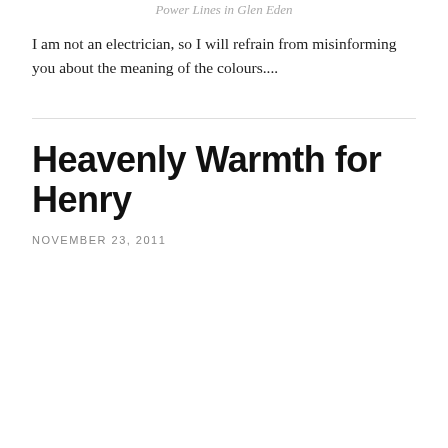Power Lines in Glen Eden
I am not an electrician, so I will refrain from misinforming you about the meaning of the colours....
Heavenly Warmth for Henry
NOVEMBER 23, 2011